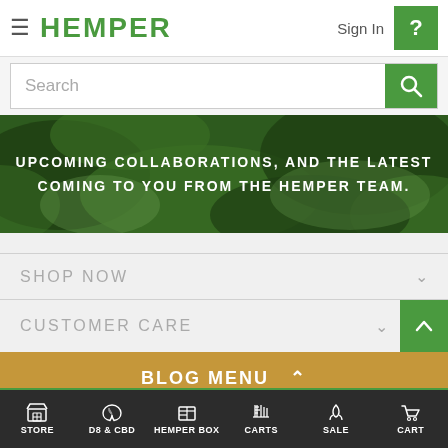HEMPER — Sign In
Search
[Figure (screenshot): Camouflage green banner with white uppercase text reading: UPCOMING COLLABORATIONS, AND THE LATEST COMING TO YOU FROM THE HEMPER TEAM.]
SHOP NOW
CUSTOMER CARE
BLOG MENU
STORE | D8 & CBD | HEMPER BOX | CARTS | SALE | CART